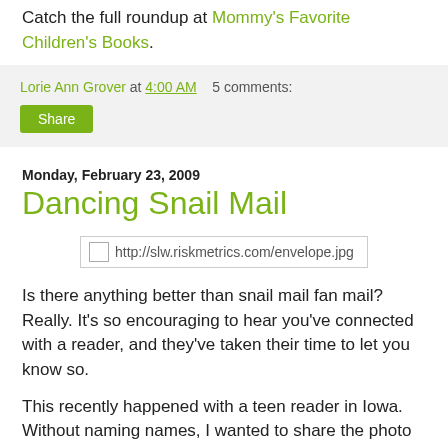Catch the full roundup at Mommy's Favorite Children's Books.
Lorie Ann Grover at 4:00 AM   5 comments:
Share
Monday, February 23, 2009
Dancing Snail Mail
[Figure (photo): Broken image placeholder showing URL http://slw.riskmetrics.com/envelope.jpg]
Is there anything better than snail mail fan mail? Really. It's so encouraging to hear you've connected with a reader, and they've taken their time to let you know so.
This recently happened with a teen reader in Iowa. Without naming names, I wanted to share the photo she sent that is so beautiful. The funny thing is, we held the same roles in